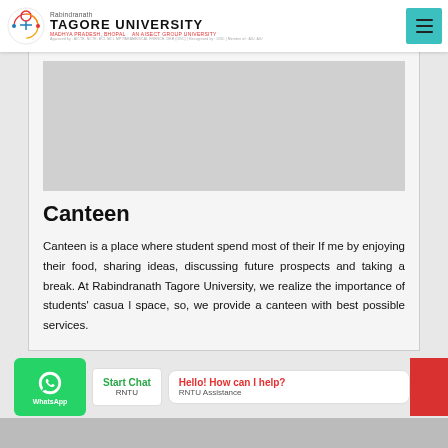[Figure (logo): Rabindranath Tagore University logo with circular icon and text]
Canteen
Canteen is a place where student spend most of their If me by enjoying their food, sharing ideas, discussing future prospects and taking a break. At Rabindranath Tagore University, we realize the importance of students' casua l space, so, we provide a canteen with best possible services.
[Figure (screenshot): WhatsApp chat widget with Start Chat button, Hello! How can I help? bubble, and RNTU Assistance label]